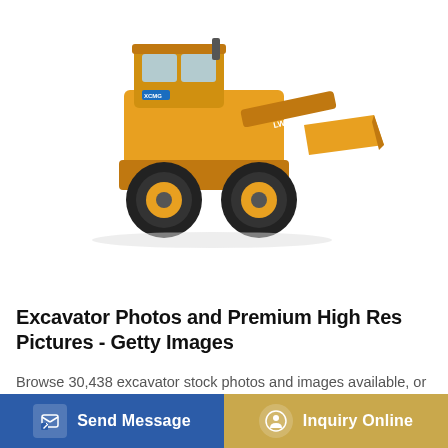[Figure (photo): Yellow XCMG LW200KV wheel loader (front loader / excavator) on white background, showing front bucket lowered, large black rubber tires with yellow rims, enclosed operator cab]
Excavator Photos and Premium High Res Pictures - Getty Images
Browse 30,438 excavator stock photos and images available, or search for small excavator or excavator logo to
Send Message
Inquiry Online